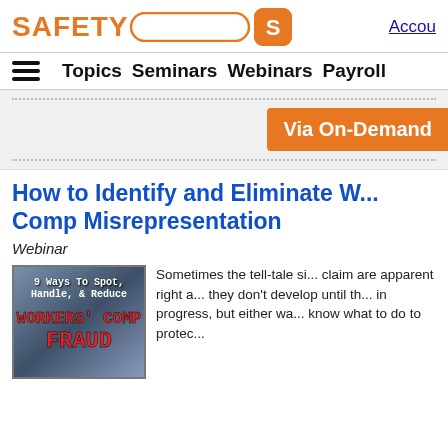SAFETY [search bar] [S icon] Accou...
Topics  Seminars  Webinars  Payroll
[Figure (screenshot): Orange button labeled 'Via On-Demand' on a light grey background with dotted borders above and below]
How to Identify and Eliminate W... Comp Misrepresentation
Webinar
[Figure (illustration): Book cover reading '9 Ways To Spot, Handle, & Reduce WORKERS' COMP FRAUD' with dark background and red text]
Sometimes the tell-tale si... claim are apparent right a... they don't develop until th... in progress, but either wa... know what to do to protec...